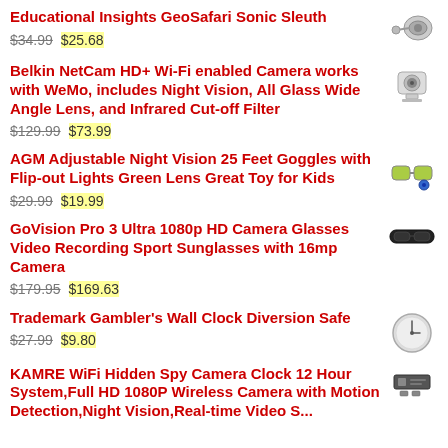Educational Insights GeoSafari Sonic Sleuth
$34.99 $25.68
Belkin NetCam HD+ Wi-Fi enabled Camera works with WeMo, includes Night Vision, All Glass Wide Angle Lens, and Infrared Cut-off Filter
$129.99 $73.99
AGM Adjustable Night Vision 25 Feet Goggles with Flip-out Lights Green Lens Great Toy for Kids
$29.99 $19.99
GoVision Pro 3 Ultra 1080p HD Camera Glasses Video Recording Sport Sunglasses with 16mp Camera
$179.95 $169.63
Trademark Gambler's Wall Clock Diversion Safe
$27.99 $9.80
KAMRE WiFi Hidden Spy Camera Clock 12 Hour System,Full HD 1080P Wireless Camera with Motion Detection,Night Vision,Real-time Video S...